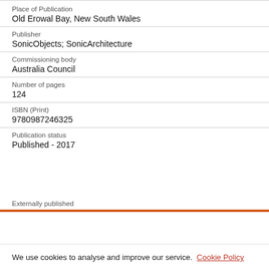Place of Publication
Old Erowal Bay, New South Wales
Publisher
SonicObjects; SonicArchitecture
Commissioning body
Australia Council
Number of pages
124
ISBN (Print)
9780987246325
Publication status
Published - 2017
Externally published
We use cookies to analyse and improve our service. Cookie Policy